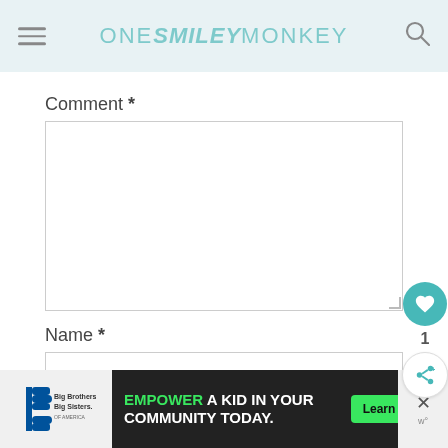ONE SMILEY MONKEY
Comment *
Name *
[Figure (screenshot): Comment form text area input box, empty, with resize handle in bottom-right corner]
[Figure (screenshot): Name form input field, empty, single line]
[Figure (infographic): Floating action buttons: teal heart button with count 1, and share button]
[Figure (infographic): Bottom ad banner: Big Brothers Big Sisters logo, dark background ad reading EMPOWER A KID IN YOUR COMMUNITY TODAY with green Learn How button, close X button]